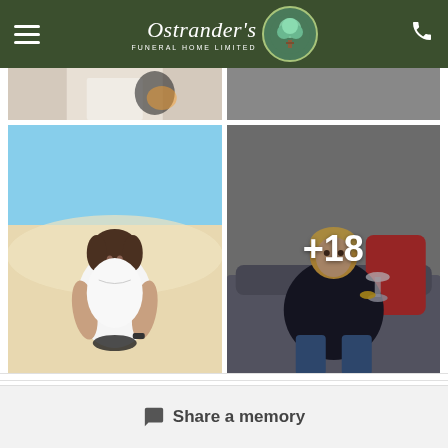Ostrander's Funeral Home Limited
[Figure (photo): Partial view of two photos cropped at top - showing lower portions of two images]
[Figure (photo): Woman standing on a beach on a sunny day, wearing white top, holding sunglasses]
[Figure (photo): Woman sitting on a sofa holding a wine glass, with +18 overlay indicating 18 more photos]
Add Photos
Upload up to 10 images at a time, max 8MB each
Share a memory